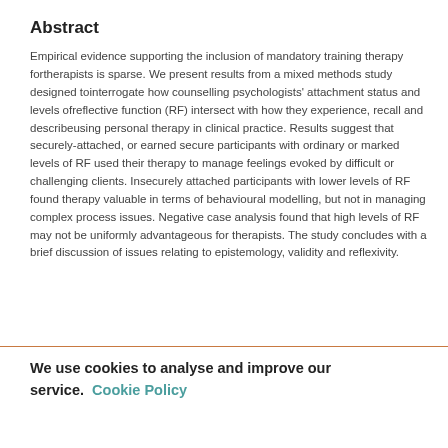Abstract
Empirical evidence supporting the inclusion of mandatory training therapy fortherapists is sparse. We present results from a mixed methods study designed tointerrogate how counselling psychologists' attachment status and levels ofreflective function (RF) intersect with how they experience, recall and describeusing personal therapy in clinical practice. Results suggest that securely-attached, or earned secure participants with ordinary or marked levels of RF used their therapy to manage feelings evoked by difficult or challenging clients. Insecurely attached participants with lower levels of RF found therapy valuable in terms of behavioural modelling, but not in managing complex process issues. Negative case analysis found that high levels of RF may not be uniformly advantageous for therapists. The study concludes with a brief discussion of issues relating to epistemology, validity and reflexivity.
We use cookies to analyse and improve our service. Cookie Policy